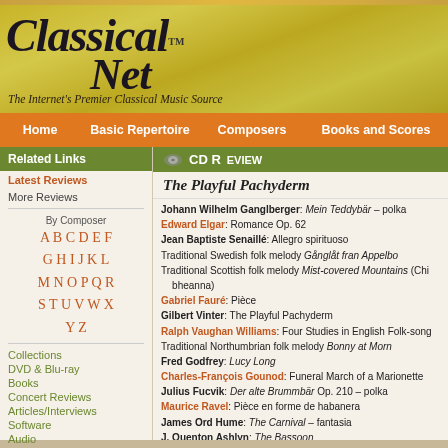[Figure (screenshot): Classical Net website header banner with logo text 'Classical Net' in italic serif font on golden/yellow background with music sheet watermark. Tagline: The Internet's Premier Classical Music Source]
Classical Net™ — The Internet's Premier Classical Music Source
Home | Basic Repertoire | Composers | Books and Scores
Related Links
Latest Reviews
More Reviews
By Composer
A B C D E F G H I J K L M N O P Q R S T U V W X Y Z
Collections
DVD & Blu-ray
Books
Concert Reviews
Articles/Interviews
Software
Audio
CD Review
The Playful Pachyderm
Johann Wilhelm Ganglberger: Mein Teddybär – polka
Edward Elgar: Romance Op. 62
Jean Baptiste Senaillé: Allegro spirituoso
Traditional Swedish folk melody Gånglåt fran Appelbo
Traditional Scottish folk melody Mist-covered Mountains (Chi bheanna)
Gabriel Fauré: Pièce
Gilbert Vinter: The Playful Pachyderm
Ralph Vaughan Williams: Four Studies in English Folk-song
Traditional Northumbrian folk melody Bonny at Morn
Fred Godfrey: Lucy Long
Charles-François Gounod: Funeral March of a Marionette
Julius Fucvik: Der alte Brummbär Op. 210 – polka
Maurice Ravel: Pièce en forme de habanera
James Ord Hume: The Carnival – fantasia
J. Quenton Ashlyn: The Bassoon